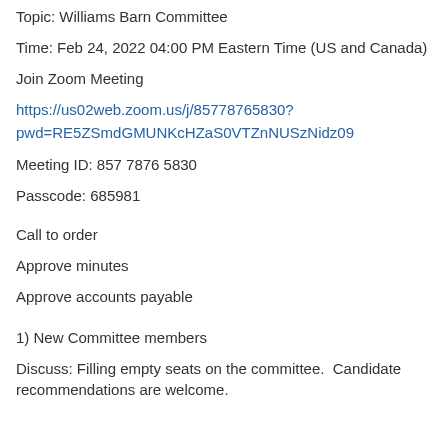Topic: Williams Barn Committee
Time: Feb 24, 2022 04:00 PM Eastern Time (US and Canada)
Join Zoom Meeting
https://us02web.zoom.us/j/85778765830?pwd=RE5ZSmdGMUNKcHZaS0VTZnNUSzNidz09
Meeting ID: 857 7876 5830
Passcode: 685981
Call to order
Approve minutes
Approve accounts payable
1) New Committee members
Discuss: Filling empty seats on the committee.  Candidate recommendations are welcome.